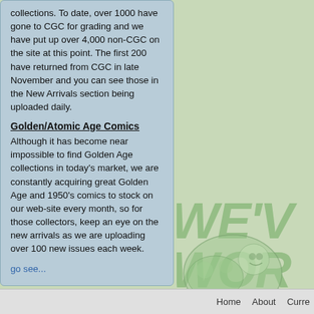collections. To date, over 1000 have gone to CGC for grading and we have put up over 4,000 non-CGC on the site at this point. The first 200 have returned from CGC in late November and you can see those in the New Arrivals section being uploaded daily.
Golden/Atomic Age Comics
Although it has become near impossible to find Golden Age collections in today's market, we are constantly acquiring great Golden Age and 1950's comics to stock on our web-site every month, so for those collectors, keep an eye on the new arrivals as we are uploading over 100 new issues each week.
go see...
[Figure (illustration): Green decorative background with large italic bold text reading 'WE'VE WOR' in light green, and a comic book illustration in the lower right corner showing stylized figures.]
Home   About   Curre...